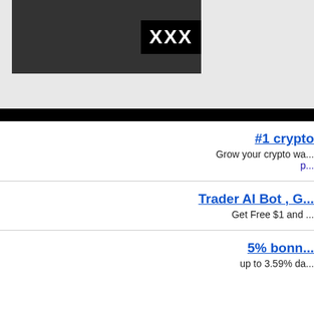[Figure (photo): Partially visible image with a black XXX badge/overlay on the right side, dark background]
#1 crypto
Grow your crypto wa...
p...
Trader AI Bot , G...
Get Free $1 and ...
5% bonn...
up to 3.59% da...